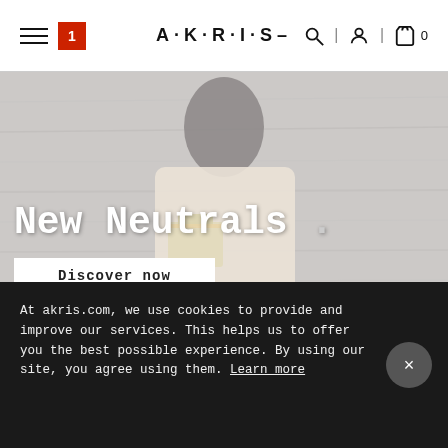AKRIS navigation header with hamburger menu, badge 1, AKRIS logo, search icon, account icon, bag icon with count 0
[Figure (photo): Fashion editorial hero image of an Asian woman with dark hair pulled back, wearing a beige/cream blazer and holding a tan structured bag with gold hardware, against a grey wood-plank wall background. Text overlay reads 'New Neutrals .' with a 'Discover now' button below.]
New Neutrals .
Discover now
At akris.com, we use cookies to provide and improve our services. This helps us to offer you the best possible experience. By using our site, you agree using them. Learn more